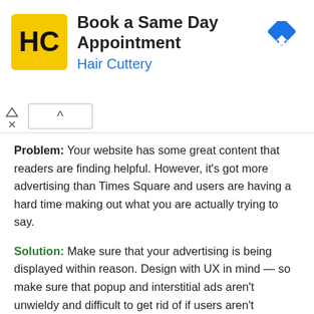[Figure (other): Hair Cuttery advertisement banner: HC logo (yellow square with HC initials), title 'Book a Same Day Appointment', subtitle 'Hair Cuttery' in blue, navigation arrow icon, collapse/close controls]
Problem: Your website has some great content that readers are finding helpful. However, it's got more advertising than Times Square and users are having a hard time making out what you are actually trying to say.
Solution: Make sure that your advertising is being displayed within reason. Design with UX in mind — so make sure that popup and interstitial ads aren't unwieldy and difficult to get rid of if users aren't interested in their contents. Consider confining advertising to a sidebar that doesn't distract from the main website content.